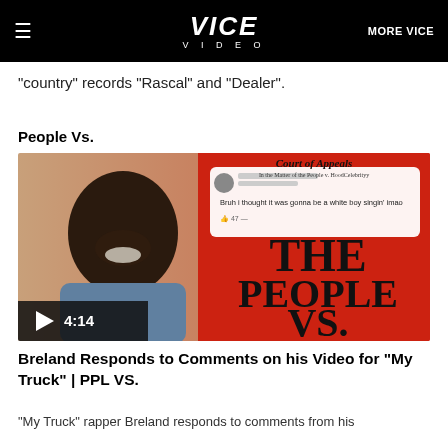VICE VIDEO  MORE VICE
"country" records "Rascal" and "Dealer".
People Vs.
[Figure (screenshot): Video thumbnail for 'Breland Responds to Comments on his Video for My Truck | PPL VS.' showing a young Black man smiling on the left against a beige/red background, and on the right a red graphic with text 'THE PEOPLE VS.' along with a social media comment card reading 'Bruh i thought it was gonna be a white boy singin imao' with 47 likes, and a header 'Court of Appeals / In the Matter of the People v. HoodCelebrityy'. A play button overlay shows duration 4:14.]
Breland Responds to Comments on his Video for "My Truck" | PPL VS.
"My Truck" rapper Breland responds to comments from his